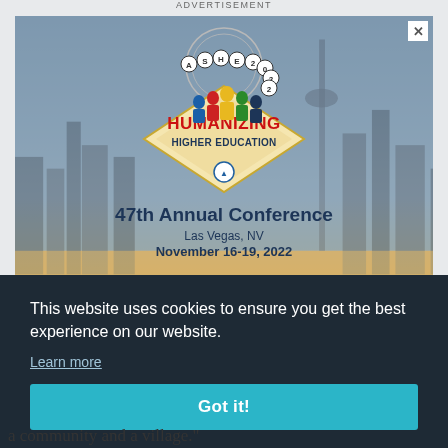ADVERTISEMENT
[Figure (illustration): ASHE 2022 conference advertisement banner. Shows a diamond-shaped Las Vegas sign logo with 'ASHE 2022 HUMANIZING HIGHER EDUCATION' text and colorful figures, set against a Las Vegas skyline background. Text reads '47th Annual Conference, Las Vegas, NV, November 16-19, 2022' with a 'LEARN MORE' button and ASHE logo at bottom.]
This website uses cookies to ensure you get the best experience on our website.
Learn more
Got it!
a community and a village."